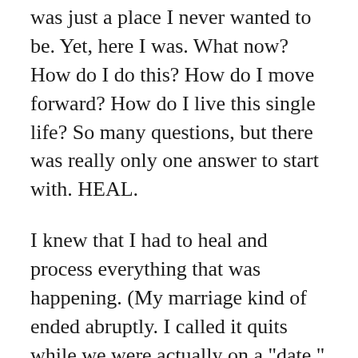was just a place I never wanted to be. Yet, here I was. What now? How do I do this? How do I move forward? How do I live this single life? So many questions, but there was really only one answer to start with. HEAL.

I knew that I had to heal and process everything that was happening. (My marriage kind of ended abruptly. I called it quits while we were actually on a "date." Whew!! I left home excited to hang out with the hubby and came home knowing we were done.) There were no weeks or months build up to this. No hating each other inside the house (at least not on my part), but there were things throughout the years that were red flags that I chose to